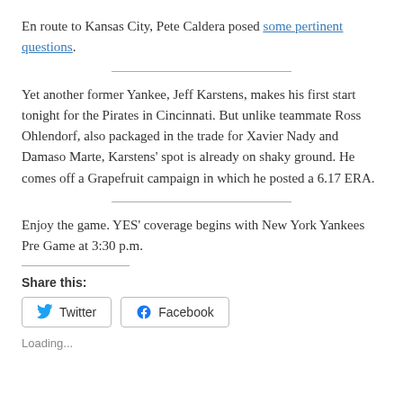En route to Kansas City, Pete Caldera posed some pertinent questions.
Yet another former Yankee, Jeff Karstens, makes his first start tonight for the Pirates in Cincinnati. But unlike teammate Ross Ohlendorf, also packaged in the trade for Xavier Nady and Damaso Marte, Karstens' spot is already on shaky ground. He comes off a Grapefruit campaign in which he posted a 6.17 ERA.
Enjoy the game. YES' coverage begins with New York Yankees Pre Game at 3:30 p.m.
Share this:
Twitter  Facebook
Loading...